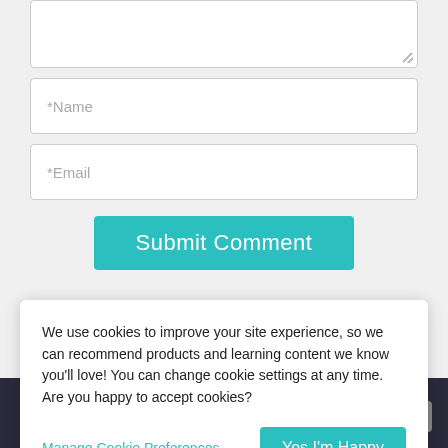[Figure (screenshot): Textarea input field (top, partially visible, with resize handle)]
*Name
*Email
Submit Comment
We use cookies to improve your site experience, so we can recommend products and learning content we know you'll love! You can change cookie settings at any time. Are you happy to accept cookies?
Manage Cookie Preferences
Yes I'm Happy
TOP
Products!